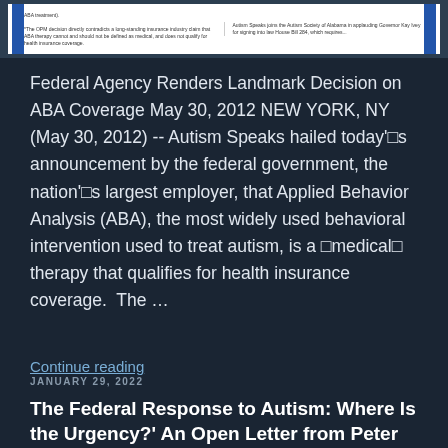[Figure (screenshot): Thumbnail strip showing two columns of small text with blue side bars, representing a document or article preview about ABA treatment and insurance coverage.]
Federal Agency Renders Landmark Decision on ABA Coverage May 30, 2012 NEW YORK, NY (May 30, 2012) -- Autism Speaks hailed today'□s announcement by the federal government, the nation'□s largest employer, that Applied Behavior Analysis (ABA), the most widely used behavioral intervention used to treat autism, is a □medical□ therapy that qualifies for health insurance coverage.  The …
Continue reading
JANUARY 29, 2022
The Federal Response to Autism: Where Is the Urgency?' An Open Letter from Peter Bell | May 29, 2012 #AutisticHistory #BanABA